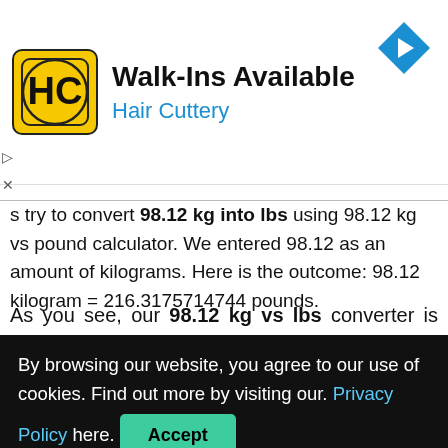[Figure (other): Hair Cuttery advertisement banner with logo, 'Walk-Ins Available' heading, and navigation icon]
s try to convert 98.12 kg into lbs using 98.12 kg vs pound calculator. We entered 98.12 as an amount of kilograms. Here is the outcome: 98.12 kilogram = 216.3175714744 pounds.
As you see, our 98.12 kg vs lbs converter is easy to use.
Now we can go to our chief topic - how to convert 98.12 kilograms to pounds on your own.
By browsing our website, you agree to our use of cookies. Find out more by visiting our. Privacy Policy here. [Accept button]
formula to get the most accurate outcome. A quick